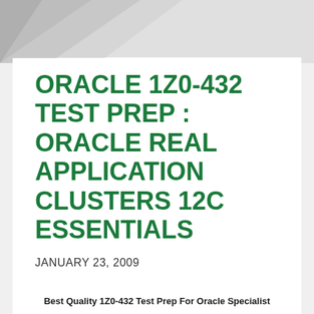[Figure (illustration): Decorative geometric triangles in gray shades in the top-left corner of the page header area]
ORACLE 1Z0-432 TEST PREP : ORACLE REAL APPLICATION CLUSTERS 12C ESSENTIALS
JANUARY 23, 2009
Best Quality 1Z0-432 Test Prep For Oracle Specialist